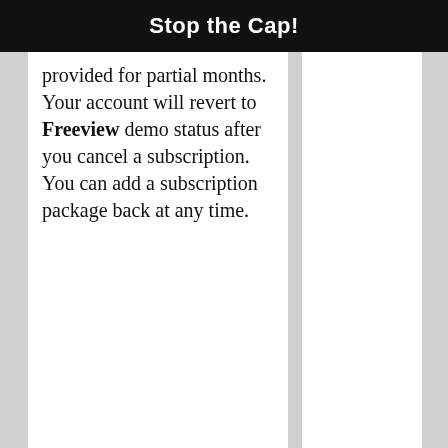Stop the Cap!
provided for partial months. Your account will revert to Freeview demo status after you cancel a subscription. You can add a subscription package back at any time.